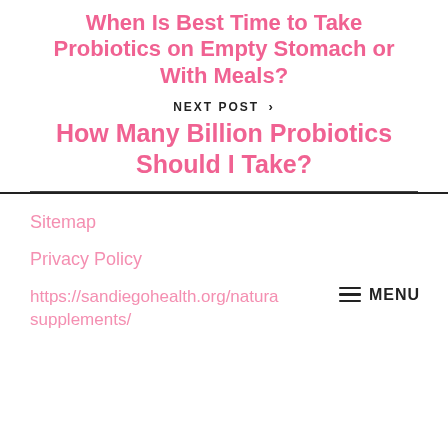When Is Best Time to Take Probiotics on Empty Stomach or With Meals?
NEXT POST >
How Many Billion Probiotics Should I Take?
Sitemap
Privacy Policy
https://sandiegohealth.org/natural supplements/
MENU